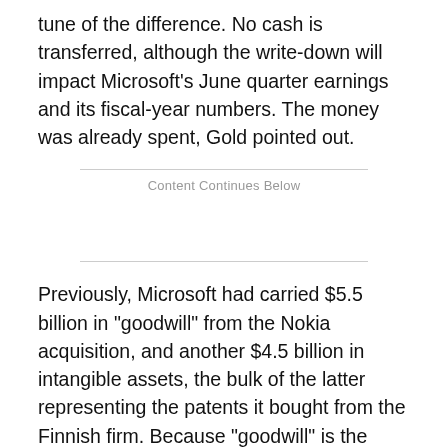tune of the difference. No cash is transferred, although the write-down will impact Microsoft's June quarter earnings and its fiscal-year numbers. The money was already spent, Gold pointed out.
Content Continues Below
Previously, Microsoft had carried $5.5 billion in "goodwill" from the Nokia acquisition, and another $4.5 billion in intangible assets, the bulk of the latter representing the patents it bought from the Finnish firm. Because "goodwill" is the difference between purchase price and actual